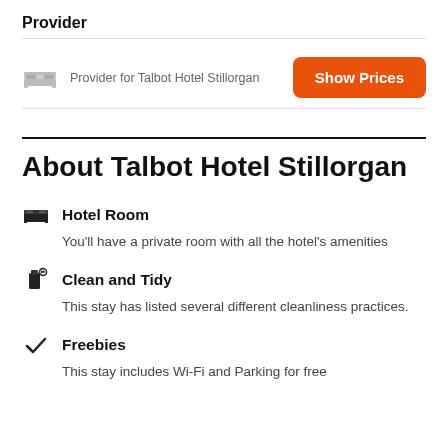Provider
Provider for Talbot Hotel Stillorgan
Show Prices
About Talbot Hotel Stillorgan
Hotel Room
You'll have a private room with all the hotel's amenities
Clean and Tidy
This stay has listed several different cleanliness practices.
Freebies
This stay includes Wi-Fi and Parking for free